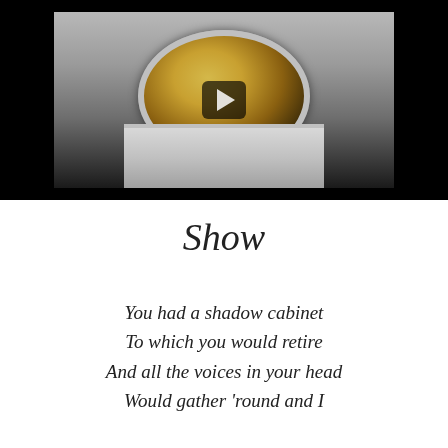[Figure (photo): Video player thumbnail showing a close-up of a gold astronaut helmet visor with a play button overlay. The image has dark/black bars at the top and bottom (letterbox). The helmet has a reflective gold-colored visor, silver trim, and white suit visible below.]
Show
You had a shadow cabinet
To which you would retire
And all the voices in your head
Would gather 'round and I